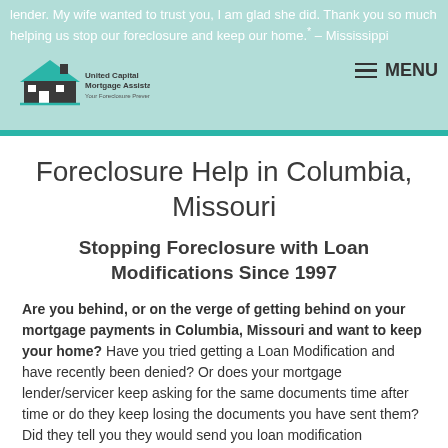lender. My wife wanted to trust you, I am glad she did. Thank you so much helping us stop our foreclosure and keep our home. – Mississippi
[Figure (logo): United Capital Mortgage Assistance logo with house icon and tagline 'Your Foreclosure Prevention Experts']
Foreclosure Help in Columbia, Missouri
Stopping Foreclosure with Loan Modifications Since 1997
Are you behind, or on the verge of getting behind on your mortgage payments in Columbia, Missouri and want to keep your home? Have you tried getting a Loan Modification and have recently been denied? Or does your mortgage lender/servicer keep asking for the same documents time after time or do they keep losing the documents you have sent them? Did they tell you they would send you loan modification documents that you still have not received and you feel uncertain and not quite sure